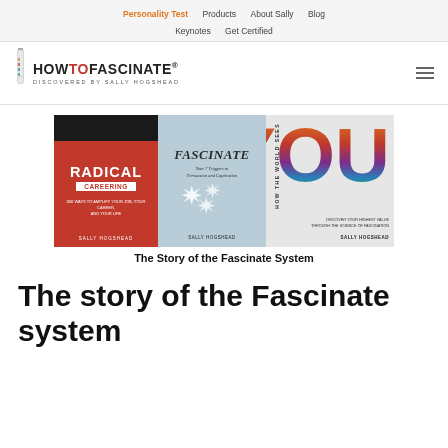Personality Test  Products  About Sally  Blog  Keynotes  Get Certified
[Figure (logo): HowToFascinate logo with test tube icon and tagline DISCOVERED BY SALLY HOGSHEAD]
[Figure (photo): Three book covers: Radical Careering, Fascinate, and How the World Sees You by Sally Hogshead]
The Story of the Fascinate System
The story of the Fascinate system